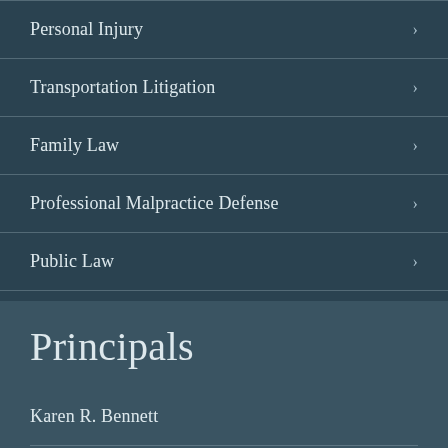Personal Injury
Transportation Litigation
Family Law
Professional Malpractice Defense
Public Law
Principals
Karen R. Bennett
Gregory M. Howard
W. Paul Miller